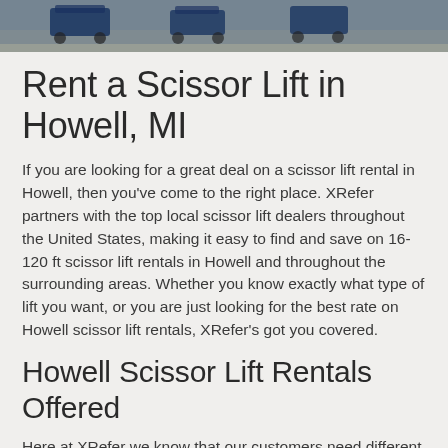[Figure (photo): Photo strip at top of page showing scissor lift equipment outdoors, dark blue machinery visible against an outdoor background]
Rent a Scissor Lift in Howell, MI
If you are looking for a great deal on a scissor lift rental in Howell, then you've come to the right place. XRefer partners with the top local scissor lift dealers throughout the United States, making it easy to find and save on 16-120 ft scissor lift rentals in Howell and throughout the surrounding areas. Whether you know exactly what type of lift you want, or you are just looking for the best rate on Howell scissor lift rentals, XRefer's got you covered.
Howell Scissor Lift Rentals Offered
Here at XRefer we know that our customers need different types and sized scissor lifts for their jobs in and around Howell, which is why we've got an unparalleled selection of Howell scissor lift models to choose from. Request a quote today to see how much you can save on any type of scissor lift, including: